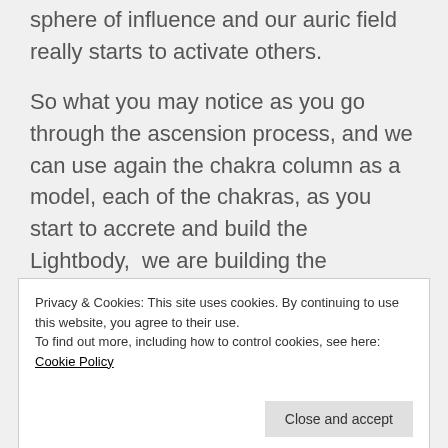sphere of influence and our auric field really starts to activate others.
So what you may notice as you go through the ascension process, and we can use again the chakra column as a model, each of the chakras, as you start to accrete and build the Lightbody,  we are building the harmonic structure of our spiritual core from the foundation up. That's how we build our consciousness lightbody, however, we will also
Privacy & Cookies: This site uses cookies. By continuing to use this website, you agree to their use.
To find out more, including how to control cookies, see here: Cookie Policy
that doesn't mean that their 4th and 5th